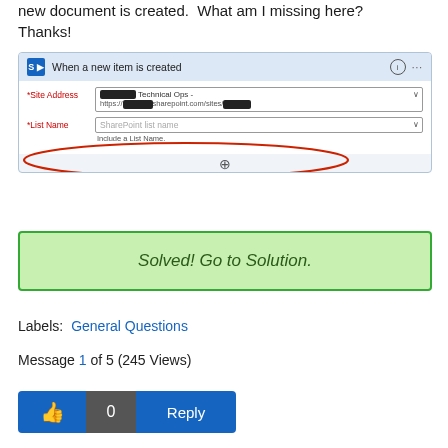new document is created.  What am I missing here? Thanks!
[Figure (screenshot): SharePoint Flow trigger screenshot showing 'When a new item is created' with Site Address filled in and List Name field empty with a red oval circle highlighting the missing List Name field.]
Solved! Go to Solution.
Labels: General Questions
Message 1 of 5 (245 Views)
[Figure (infographic): Thumbs up button (blue), count 0 (dark gray), Reply button (blue)]